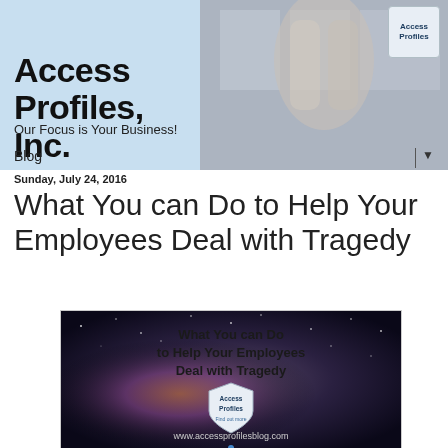Access Profiles, Inc.
Our Focus is Your Business!
Blog
Sunday, July 24, 2016
What You can Do to Help Your Employees Deal with Tragedy
[Figure (illustration): Blog post featured image with dark starry background. Text reads: 'What You can Do to Help Your Employees Deal with Tragedy'. Access Profiles shield logo in center. URL: www.accessprofilesblog.com at bottom.]